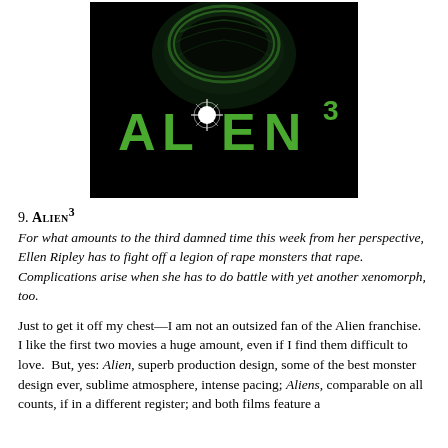[Figure (photo): Movie poster for Alien³ showing the stylized green ALIEN³ logo text on a black background with a dark alien egg/creature silhouette above]
9. ALIEN³
For what amounts to the third damned time this week from her perspective, Ellen Ripley has to fight off a legion of rape monsters that rape.  Complications arise when she has to do battle with yet another xenomorph, too.
Just to get it off my chest—I am not an outsized fan of the Alien franchise.  I like the first two movies a huge amount, even if I find them difficult to love.  But, yes: Alien, superb production design, some of the best monster design ever, sublime atmosphere, intense pacing; Aliens, comparable on all counts, if in a different register; and both films feature a